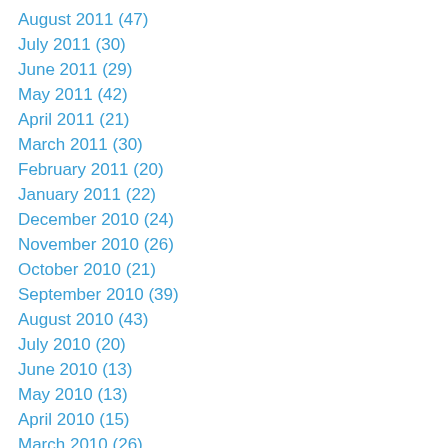August 2011 (47)
July 2011 (30)
June 2011 (29)
May 2011 (42)
April 2011 (21)
March 2011 (30)
February 2011 (20)
January 2011 (22)
December 2010 (24)
November 2010 (26)
October 2010 (21)
September 2010 (39)
August 2010 (43)
July 2010 (20)
June 2010 (13)
May 2010 (13)
April 2010 (15)
March 2010 (26)
February 2010 (16)
January 2010 (17)